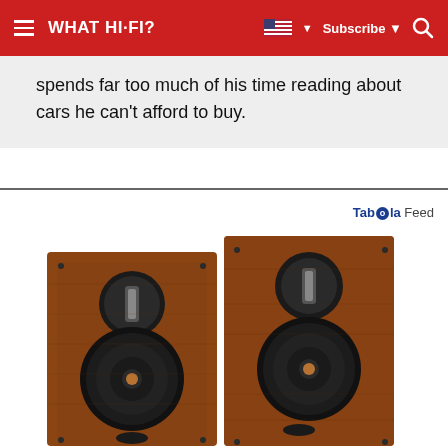WHAT HI-FI?
spends far too much of his time reading about cars he can't afford to buy.
Tab00la Feed
[Figure (photo): Two walnut-finish bookshelf speakers with ribbon tweeters and woofers with copper centre caps, shown side by side at a slight angle.]